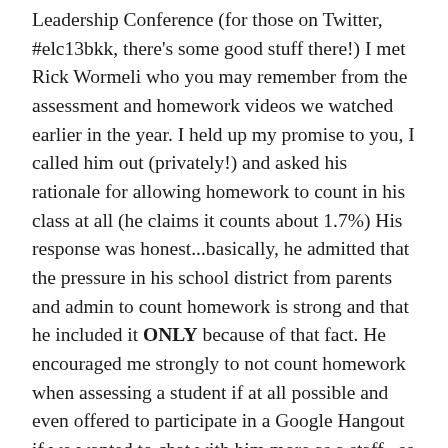Leadership Conference (for those on Twitter, #elc13bkk, there's some good stuff there!) I met Rick Wormeli who you may remember from the assessment and homework videos we watched earlier in the year. I held up my promise to you, I called him out (privately!) and asked his rationale for allowing homework to count in his class at all (he claims it counts about 1.7%) His response was honest...basically, he admitted that the pressure in his school district from parents and admin to count homework is strong and that he included it ONLY because of that fact. He encouraged me strongly to not count homework when assessing a student if at all possible and even offered to participate in a Google Hangout if we wanted to chat with him more as a staff...so that is on the table for the future if people are interested. I'll write and share more about the ELC in the near future but for today I want to share a great article written by another great